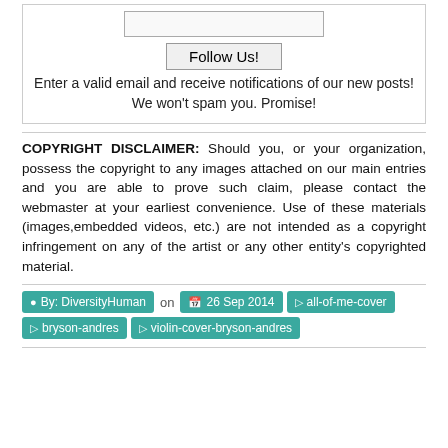[Figure (screenshot): Email input field (text input box)]
Follow Us!
Enter a valid email and receive notifications of our new posts! We won't spam you. Promise!
COPYRIGHT DISCLAIMER: Should you, or your organization, possess the copyright to any images attached on our main entries and you are able to prove such claim, please contact the webmaster at your earliest convenience. Use of these materials (images,embedded videos, etc.) are not intended as a copyright infringement on any of the artist or any other entity's copyrighted material.
By: DiversityHuman on 26 Sep 2014 all-of-me-cover bryson-andres violin-cover-bryson-andres